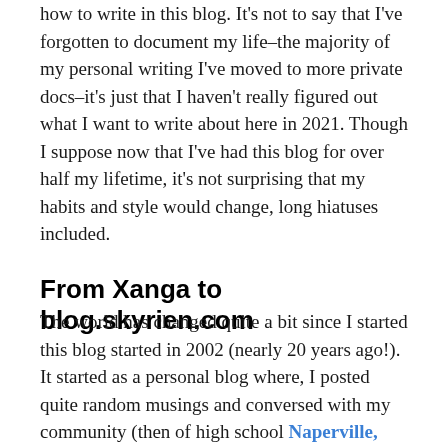how to write in this blog. It's not to say that I've forgotten to document my life–the majority of my personal writing I've moved to more private docs–it's just that I haven't really figured out what I want to write about here in 2021. Though I suppose now that I've had this blog for over half my lifetime, it's not surprising that my habits and style would change, long hiatuses included.
From Xanga to blog.skyrien.com
The world has changed quite a bit since I started this blog started in 2002 (nearly 20 years ago!). It started as a personal blog where, I posted quite random musings and conversed with my community (then of high school Naperville,